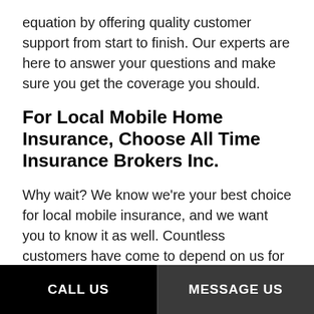equation by offering quality customer support from start to finish. Our experts are here to answer your questions and make sure you get the coverage you should.
For Local Mobile Home Insurance, Choose All Time Insurance Brokers Inc.
Why wait? We know we're your best choice for local mobile insurance, and we want you to know it as well. Countless customers have come to depend on us for all their insurance needs. You will, too, once you experience the value of our services for yourself.
Contact us to get started today.
CALL US | MESSAGE US